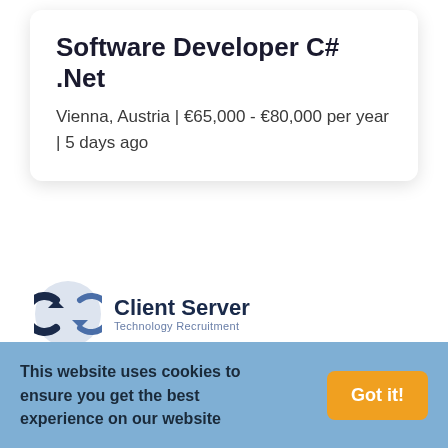Software Developer C# .Net
Vienna, Austria | €65,000 - €80,000 per year | 5 days ago
[Figure (logo): Client Server Technology Recruitment logo — circular icon with stylized double-arrow in dark blue and grey, company name in bold dark navy, subtitle 'Technology Recruitment' in lighter blue-grey]
We thrive on building relationships. Whether you
This website uses cookies to ensure you get the best experience on our website